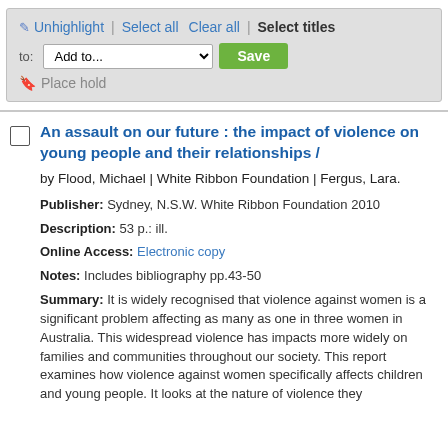[Figure (screenshot): Library catalog toolbar with Unhighlight, Select all, Clear all, Select titles buttons, an Add to dropdown with Save button, and Place hold link]
An assault on our future : the impact of violence on young people and their relationships /
by Flood, Michael | White Ribbon Foundation | Fergus, Lara.
Publisher: Sydney, N.S.W. White Ribbon Foundation 2010
Description: 53 p.: ill.
Online Access: Electronic copy
Notes: Includes bibliography pp.43-50
Summary: It is widely recognised that violence against women is a significant problem affecting as many as one in three women in Australia. This widespread violence has impacts more widely on families and communities throughout our society. This report examines how violence against women specifically affects children and young people. It looks at the nature of violence they